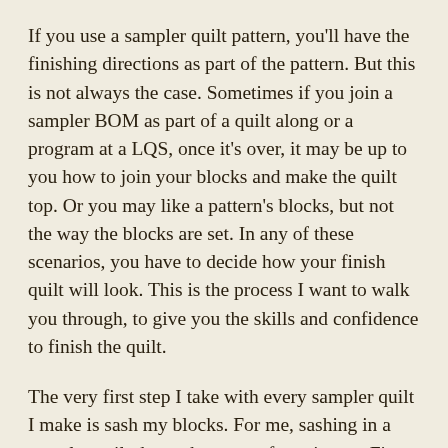If you use a sampler quilt pattern, you'll have the finishing directions as part of the pattern.  But this is not always the case.  Sometimes if you join a sampler BOM as part of a quilt along or a program at a LQS, once it's over, it may be up to you how to join your blocks and make the quilt top.  Or you may like a pattern's blocks, but not the way the blocks are set.  In any of these scenarios, you have to decide how your finish quilt will look.  This is the process I want to walk you through, to give you the skills and confidence to finish the quilt.
The very first step I take with every sampler quilt I make is sash my blocks.  For me, sashing in a sampler quilt does takes care of two issues.  First, it can serve to add cohesiveness to all the blocks.  Second, it calms the blocks down.  Even if you followed my suggestions in the first Sampler Quilt post and used all the same background color, judiciously utilized the focus fabric